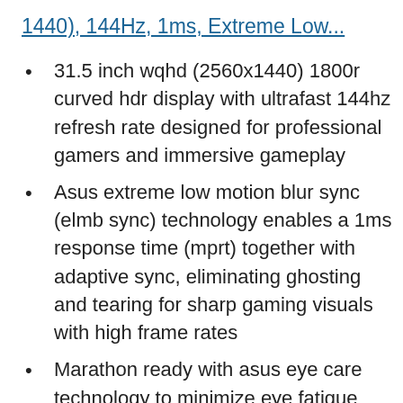1440), 144Hz, 1ms, Extreme Low...
31.5 inch wqhd (2560x1440) 1800r curved hdr display with ultrafast 144hz refresh rate designed for professional gamers and immersive gameplay
Asus extreme low motion blur sync (elmb sync) technology enables a 1ms response time (mprt) together with adaptive sync, eliminating ghosting and tearing for sharp gaming visuals with high frame rates
Marathon ready with asus eye care technology to minimize eye fatigue and an ergonomic stand with full height/tilt/pivot adjustments to